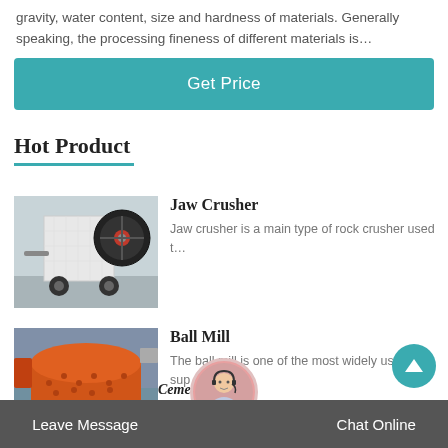gravity, water content, size and hardness of materials. Generally speaking, the processing fineness of different materials is…
Get Price
Hot Product
[Figure (photo): Jaw crusher machine — white industrial crusher with large black flywheel in a workshop setting]
Jaw Crusher
Jaw crusher is a main type of rock crusher used t…
[Figure (photo): Ball mill — large orange cylindrical industrial ball mill machine]
Ball Mill
The ball mill is one of the most widely used sup…
Cement Mill
Leave Message   Chat Online